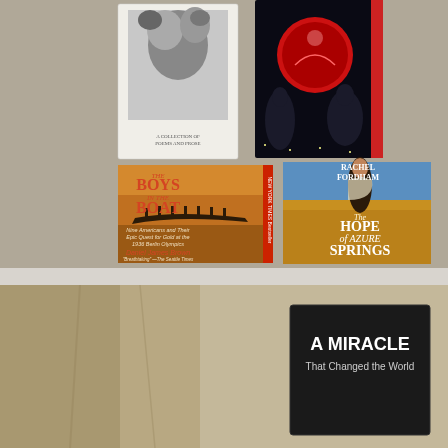[Figure (photo): Top photo showing four book covers arranged on a gray carpet: top-left is a poetry/prose collection with a black and white floral image, top-right is a dark novel cover with silhouettes and a red circle, bottom-left is 'The Boys in the Boat' by Daniel James Brown (Nine Americans and Their Epic Quest for Gold at the 1936 Berlin Olympics), bottom-right is 'The Hope of Azure Springs' by Rachel Fordham.]
[Figure (photo): Bottom photo showing a book spine/cover reading 'A MIRACLE That Changed the World' on a tan/beige background.]